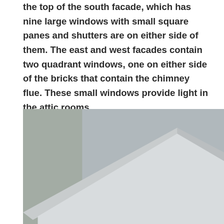the top of the south facade, which has nine large windows with small square panes and shutters are on either side of them. The east and west facades contain two quadrant windows, one on either side of the bricks that contain the chimney flue. These small windows provide light in the attic rooms.
[Figure (photo): Photograph of the upper portion of a brick building facade showing a peaked roofline with white cornice molding and an oval/elliptical window with decorative sunburst/spoke pattern in the brick wall below the pediment.]